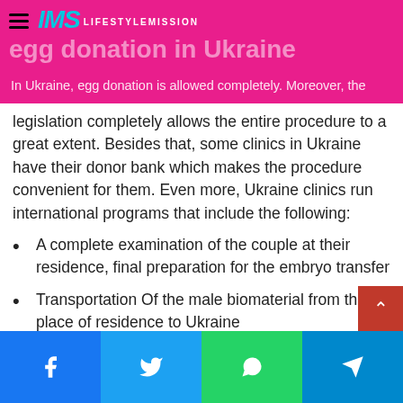egg donation in Ukraine — IMS LifeStyleMission
In Ukraine, egg donation is allowed completely. Moreover, the legislation completely allows the entire procedure to a great extent. Besides that, some clinics in Ukraine have their donor bank which makes the procedure convenient for them. Even more, Ukraine clinics run international programs that include the following:
A complete examination of the couple at their residence, final preparation for the embryo transfer
Transportation Of the male biomaterial from the place of residence to Ukraine
The customer selects the egg donor and the creation of the embryo takes place using the egg cell from the donor
Afterward, the transport of the embryo takes place to t…
Facebook | Twitter | WhatsApp | Telegram